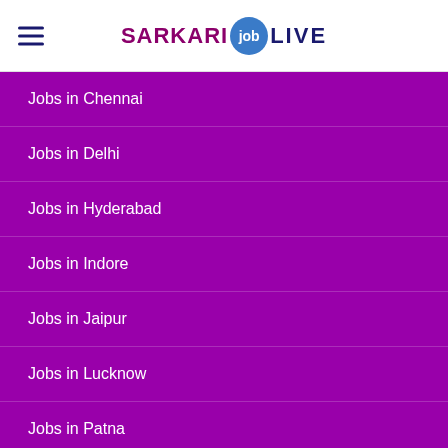SARKARI job LIVE
Jobs in Chennai
Jobs in Delhi
Jobs in Hyderabad
Jobs in Indore
Jobs in Jaipur
Jobs in Lucknow
Jobs in Patna